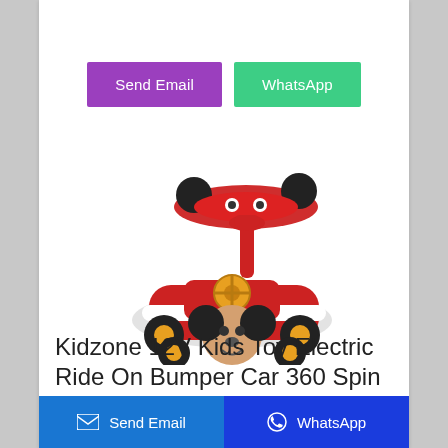[Figure (other): Two call-to-action buttons: 'Send Email' (purple) and 'WhatsApp' (green)]
[Figure (photo): Mickey Mouse themed Kidzone 12V kids electric ride-on bumper car toy, red and black, with a spinning canopy shaped like Mickey's face]
Kidzone 12V Kids Toy Electric Ride On Bumper Car 360 Spin
[Figure (other): Bottom navigation bar with 'Send Email' (blue) and 'WhatsApp' (dark blue) buttons]